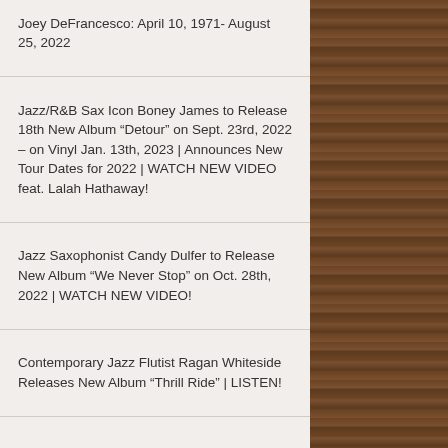Joey DeFrancesco: April 10, 1971- August 25, 2022
Jazz/R&B Sax Icon Boney James to Release 18th New Album “Detour” on Sept. 23rd, 2022 – on Vinyl Jan. 13th, 2023 | Announces New Tour Dates for 2022 | WATCH NEW VIDEO feat. Lalah Hathaway!
Jazz Saxophonist Candy Dulfer to Release New Album “We Never Stop” on Oct. 28th, 2022 | WATCH NEW VIDEO!
Contemporary Jazz Flutist Ragan Whiteside Releases New Album “Thrill Ride” | LISTEN!